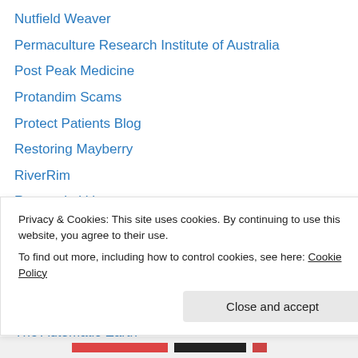Nutfield Weaver
Permaculture Research Institute of Australia
Post Peak Medicine
Protandim Scams
Protect Patients Blog
Restoring Mayberry
RiverRim
Runewebvitki
Small scale grain and pulse production
Stony Run Farm
Terroir Seeds Blog
The Archdruid Report
The Automatic Earth
Privacy & Cookies: This site uses cookies. By continuing to use this website, you agree to their use. To find out more, including how to control cookies, see here: Cookie Policy
Close and accept